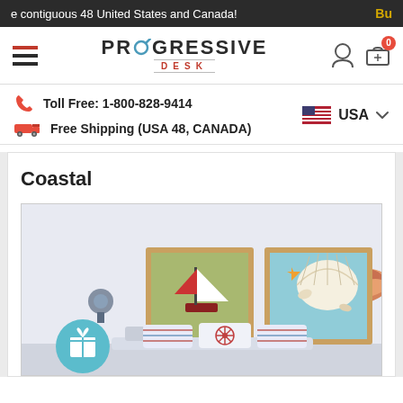e contiguous 48 United States and Canada! Bu
[Figure (logo): Progressive Desk logo with hamburger menu, user icon, and cart icon with badge 0]
Toll Free: 1-800-828-9414
Free Shipping (USA 48, CANADA)
USA
Coastal
[Figure (photo): Coastal themed bedroom with two framed pictures on wall (sailboat and seashells), a conch shell decoration, nautical wall sconces, striped pillows on white bench with ship wheel pillow, and a teal gift button overlay]